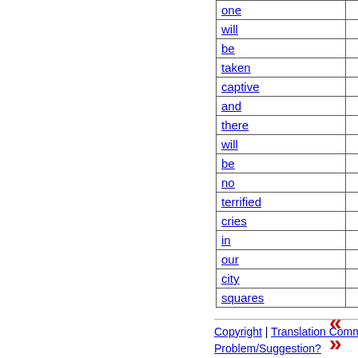| word | count |
| --- | --- |
| one | 3299 |
| will | 10920 |
| be | 5087 |
| taken | 222 |
| captive | 28 |
| and | 26315 |
| there | 1657 |
| will | 10920 |
| be | 5087 |
| no | 1421 |
| terrified | 62 |
| cries | 34 |
| in | 10918 |
| our | 1128 |
| city | 773 |
| squares | 11 |
| word | value |
| --- | --- |
| Nyaw | 0... |
| hxwu | 0... |
| wnytbxrb | 0... |
Copyright | Translation Comment/Suggestion? | Website Problem/Suggestion?